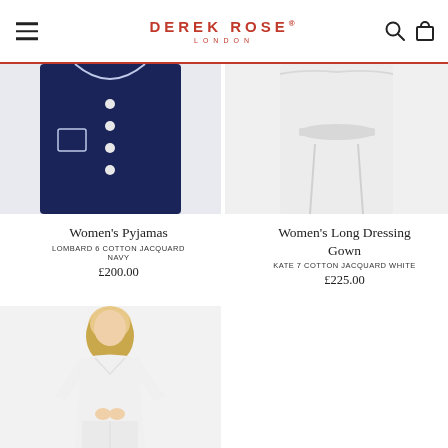DEREK ROSE LONDON
[Figure (photo): Women's navy blue button-up pyjama top, partial view showing front buttons and pocket]
[Figure (photo): Women's white long dressing gown, partial view showing tie waist and lower body]
Women's Pyjamas
LOMBARD 6 COTTON JACQUARD NAVY
£200.00
Women's Long Dressing Gown
KATE 7 COTTON JACQUARD WHITE
£225.00
[Figure (photo): Woman in white long-sleeve button-up pyjama top and white wide-leg trousers, standing against light grey background]